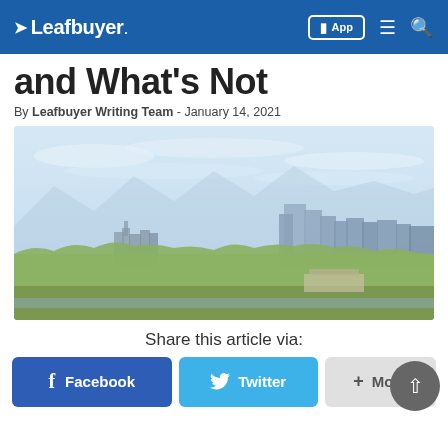Leafbuyer — App, Menu, Search navigation bar
and What's Not
By Leafbuyer Writing Team - January 14, 2021
[Figure (photo): City skyline photo showing Denver, Colorado with mountains in the background, trees in the foreground, under a light blue hazy sky.]
Share this article via:
Facebook
Twitter
+ More